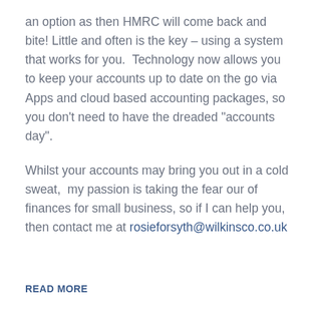an option as then HMRC will come back and bite! Little and often is the key – using a system that works for you.  Technology now allows you to keep your accounts up to date on the go via Apps and cloud based accounting packages, so you don't need to have the dreaded “accounts day”.
Whilst your accounts may bring you out in a cold sweat,  my passion is taking the fear our of finances for small business, so if I can help you, then contact me at rosieforsyth@wilkinsco.co.uk
READ MORE